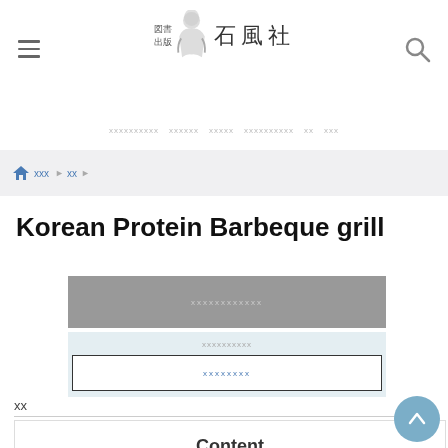[Figure (logo): Logo of 図書出版 石風社 with illustrated figure and kanji text]
ナビゲーションメニュー items in Japanese
ホーム ▶ 本 ▶ breadcrumb navigation
Korean Protein Barbeque grill
カートに入れる (Add to cart button - gray)
お気に入りに追加 / ウィッシュリストに追加 (light blue box with white inner button)
内容
| Content |
| --- |